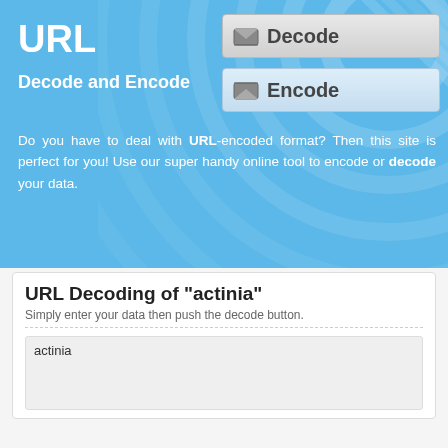URL
Decode and Encode
Do you have to deal with URL-encoded format? Then this site is perfect for you! Use our super handy online tool to encode or decode your data.
URL Decoding of "actinia"
Simply enter your data then push the decode button.
actinia